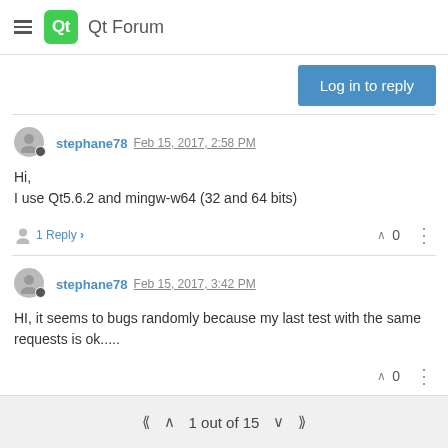Qt Forum
Log in to reply
stephane78 Feb 15, 2017, 2:58 PM
Hi,
I use Qt5.6.2 and mingw-w64 (32 and 64 bits)
1 Reply  0
stephane78 Feb 15, 2017, 3:42 PM
HI, it seems to bugs randomly because my last test with the same requests is ok.....
0
1 out of 15